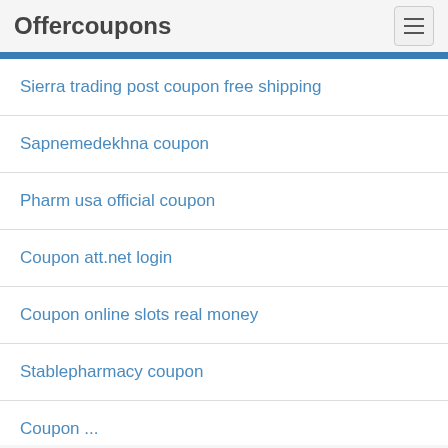Offercoupons
Sierra trading post coupon free shipping
Sapnemedekhna coupon
Pharm usa official coupon
Coupon att.net login
Coupon online slots real money
Stablepharmacy coupon
Coupon...